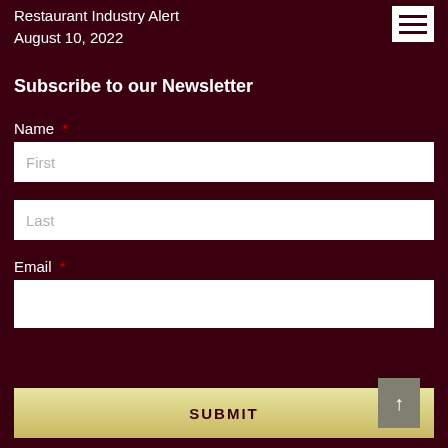Restaurant Industry Alert
August 10, 2022
Subscribe to our Newsletter
Name *
First
Last
Email *
SUBMIT